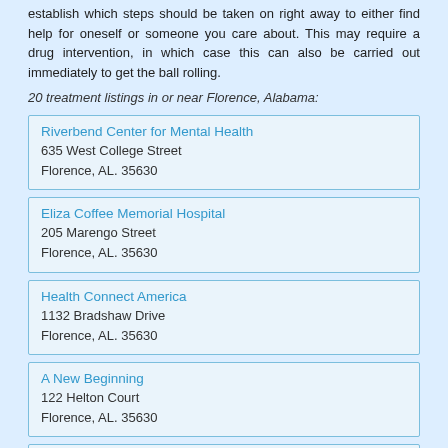establish which steps should be taken on right away to either find help for oneself or someone you care about. This may require a drug intervention, in which case this can also be carried out immediately to get the ball rolling.
20 treatment listings in or near Florence, Alabama:
Riverbend Center for Mental Health
635 West College Street
Florence, AL. 35630
Eliza Coffee Memorial Hospital
205 Marengo Street
Florence, AL. 35630
Health Connect America
1132 Bradshaw Drive
Florence, AL. 35630
A New Beginning
122 Helton Court
Florence, AL. 35630
Bradford Health Services
303 East College Street
Florence, AL. 35630
Shoals Treatment Center
3430 North Jackson Highway